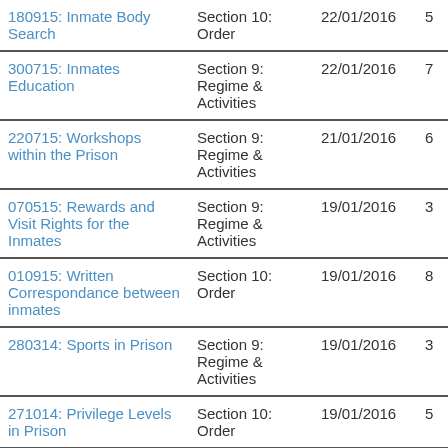| Policy | Section | Date | Col4 | Col5 |
| --- | --- | --- | --- | --- |
| 180915: Inmate Body Search | Section 10: Order | 22/01/2016 | 5 | 13 |
| 300715: Inmates Education | Section 9: Regime & Activities | 22/01/2016 | 7 | 15 |
| 220715: Workshops within the Prison | Section 9: Regime & Activities | 21/01/2016 | 6 | 10 |
| 070515: Rewards and Visit Rights for the Inmates | Section 9: Regime & Activities | 19/01/2016 | 3 | 11 |
| 010915: Written Correspondance between inmates | Section 10: Order | 19/01/2016 | 8 | 8 |
| 280314: Sports in Prison | Section 9: Regime & Activities | 19/01/2016 | 3 | 10 |
| 271014: Privilege Levels in Prison | Section 10: Order | 19/01/2016 | 5 | 6 |